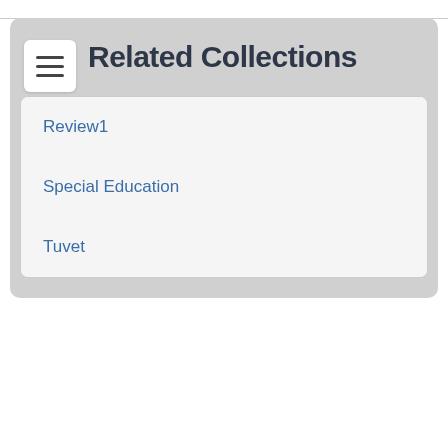Related Collections
Review1
Special Education
Tuvet